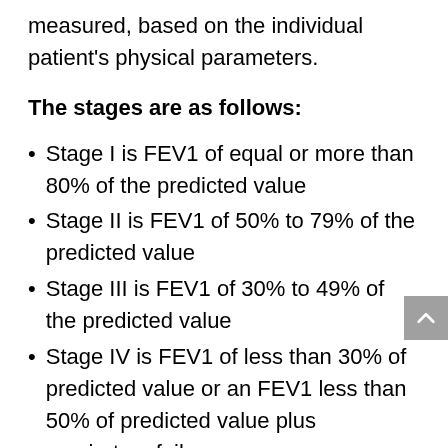measured, based on the individual patient's physical parameters.
The stages are as follows:
Stage I is FEV1 of equal or more than 80% of the predicted value
Stage II is FEV1 of 50% to 79% of the predicted value
Stage III is FEV1 of 30% to 49% of the predicted value
Stage IV is FEV1 of less than 30% of predicted value or an FEV1 less than 50% of predicted value plus respiratory failure
Other staging methods are similar but are based on the severity of the shortness of